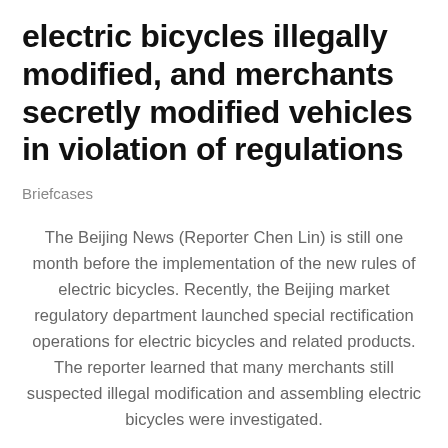electric bicycles illegally modified, and merchants secretly modified vehicles in violation of regulations
Briefcases
The Beijing News (Reporter Chen Lin) is still one month before the implementation of the new rules of electric bicycles. Recently, the Beijing market regulatory department launched special rectification operations for electric bicycles and related products. The reporter learned that many merchants still suspected illegal modification and assembling electric bicycles were investigated.